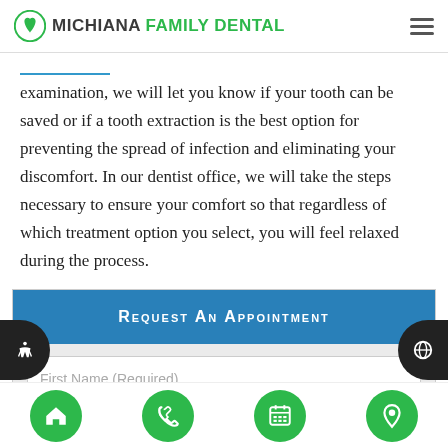MICHIANA FAMILY DENTAL
examination, we will let you know if your tooth can be saved or if a tooth extraction is the best option for preventing the spread of infection and eliminating your discomfort. In our dentist office, we will take the steps necessary to ensure your comfort so that regardless of which treatment option you select, you will feel relaxed during the process.
Request An Appointment
First Name (Required)